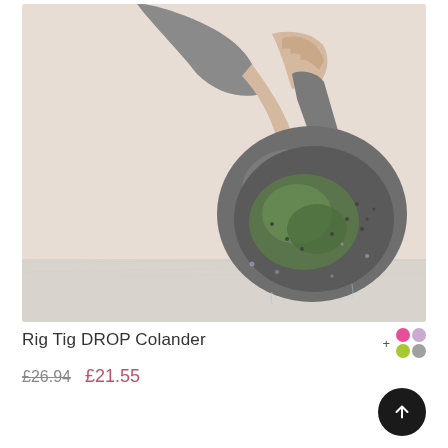[Figure (photo): A hand holding a gray Rig Tig DROP Colander with green vegetables inside, draining water. The colander has a rounded bowl shape with a long flat handle, shown against a light beige background with a marble surface below.]
Rig Tig DROP Colander
£26.94  £21.55
[Figure (infographic): Color selection dots: pink, lavender, lime green, and gray circles with a plus sign, indicating color variants available. A circular dark scroll-to-top button with an upward chevron arrow.]